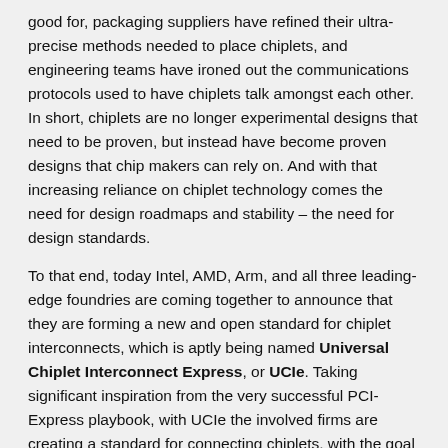good for, packaging suppliers have refined their ultra-precise methods needed to place chiplets, and engineering teams have ironed out the communications protocols used to have chiplets talk amongst each other. In short, chiplets are no longer experimental designs that need to be proven, but instead have become proven designs that chip makers can rely on. And with that increasing reliance on chiplet technology comes the need for design roadmaps and stability – the need for design standards.
To that end, today Intel, AMD, Arm, and all three leading-edge foundries are coming together to announce that they are forming a new and open standard for chiplet interconnects, which is aptly being named Universal Chiplet Interconnect Express, or UCIe. Taking significant inspiration from the very successful PCI-Express playbook, with UCIe the involved firms are creating a standard for connecting chiplets, with the goal of having a single set of standards that not only simplify the process for all involved, but lead the way towards full interoperability between chiplets from different manufacturers, allowing chips to mix-and-match chiplets as chip makers see fit. In other words, to make a complete and compatible ecosystem out of chiplets, much like today's ecosystem for PCIe-based expansion cards.